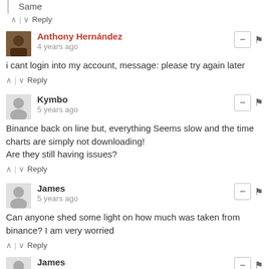Same
^ | v  Reply
Anthony Hernández
4 years ago
i cant login into my account, message: please try again later
^ | v  Reply
Kymbo
5 years ago
Binance back on line but, everything Seems slow and the time charts are simply not downloading!
Are they still having issues?
^ | v  Reply
James
5 years ago
Can anyone shed some light on how much was taken from binance? I am very worried
^ | v  Reply
James
5 years ago